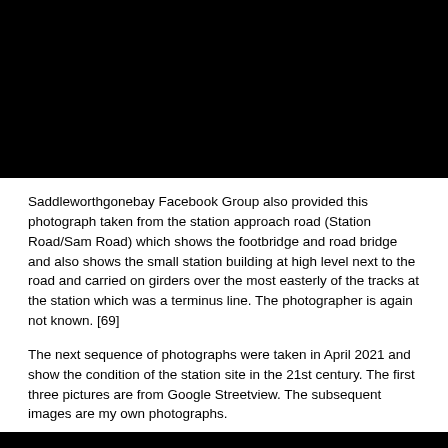[Figure (photo): Black rectangular photograph area at top of page (image content obscured/redacted)]
Saddleworthgonebay Facebook Group also provided this photograph taken from the station approach road (Station Road/Sam Road) which shows the footbridge and road bridge and also shows the small station building at high level next to the road and carried on girders over the most easterly of the tracks at the station which was a terminus line. The photographer is again not known. [69]
The next sequence of photographs were taken in April 2021 and show the condition of the station site in the 21st century. The first three pictures are from Google Streetview. The subsequent images are my own photographs.
[Figure (photo): Black rectangular photograph area at bottom of page (image content obscured/redacted)]